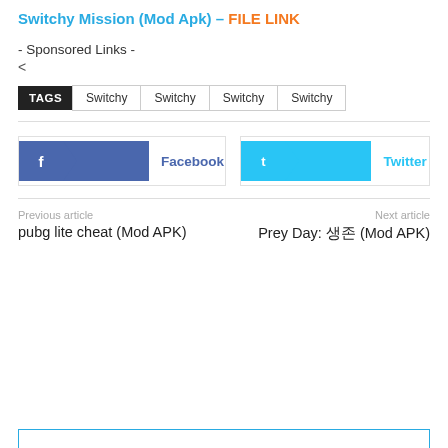Switchy Mission (Mod Apk) – FILE LINK
- Sponsored Links -
<
TAGS  Switchy  Switchy  Switchy  Switchy
[Figure (other): Facebook and Twitter social share buttons with arrow badge design]
Previous article
pubg lite cheat (Mod APK)
Next article
Prey Day: 생존 (Mod APK)